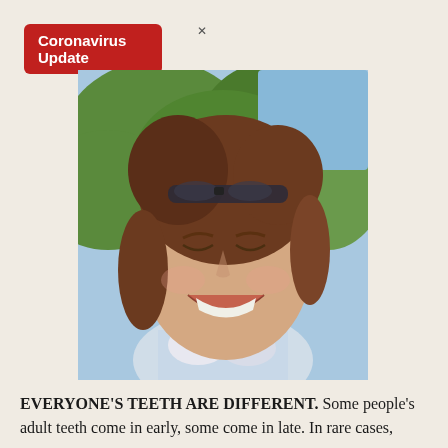Coronavirus Update
[Figure (photo): Smiling woman with sunglasses on her head, wearing a white shirt, outdoors with green trees and blue sky in the background.]
EVERYONE'S TEETH ARE DIFFERENT. Some people's adult teeth come in early, some come in late. In rare cases,